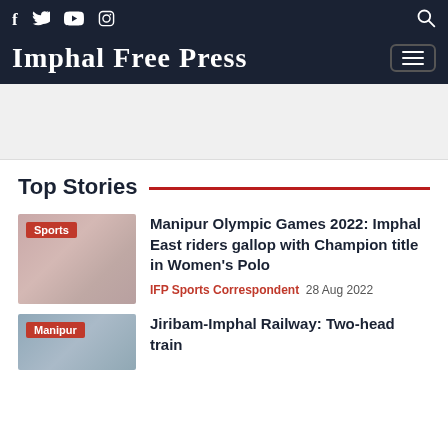Imphal Free Press — social icons: f, twitter, youtube, instagram; search icon; menu button
[Figure (other): Advertisement banner area (blank/empty)]
Top Stories
[Figure (photo): Sports category thumbnail image with 'Sports' badge]
Manipur Olympic Games 2022: Imphal East riders gallop with Champion title in Women's Polo
IFP Sports Correspondent   28 Aug 2022
[Figure (photo): Manipur category thumbnail image with 'Manipur' badge]
Jiribam-Imphal Railway: Two-head train